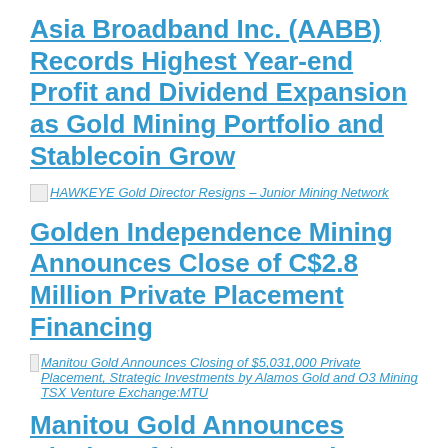Asia Broadband Inc. (AABB) Records Highest Year-end Profit and Dividend Expansion as Gold Mining Portfolio and Stablecoin Grow
[Figure (other): Broken image link thumbnail for HAWKEYE Gold Director Resigns - Junior Mining Network article]
Golden Independence Mining Announces Close of C$2.8 Million Private Placement Financing
[Figure (other): Broken image link thumbnail for Manitou Gold Announces Closing of $5,031,000 Private Placement, Strategic Investments by Alamos Gold and O3 Mining TSX Venture Exchange:MTU article]
Manitou Gold Announces Closing of $5,031,000 Private Placement, Strategic